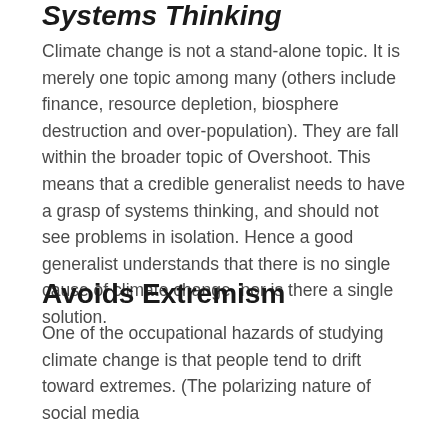Systems Thinking
Climate change is not a stand-alone topic. It is merely one topic among many (others include finance, resource depletion, biosphere destruction and over-population). They are fall within the broader topic of Overshoot. This means that a credible generalist needs to have a grasp of systems thinking, and should not see problems in isolation. Hence a good generalist understands that there is no single cause of climate change, nor is there a single solution.
Avoids Extremism
One of the occupational hazards of studying climate change is that people tend to drift toward extremes. (The polarizing nature of social media